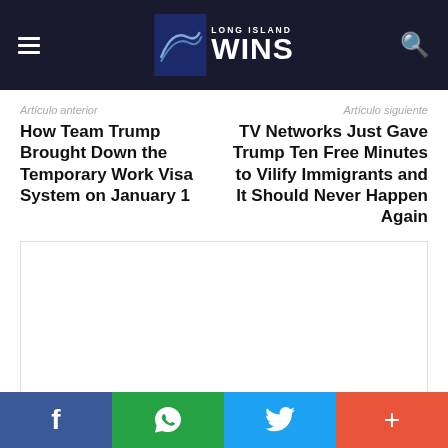Long Island Wins
Artículo anterior
How Team Trump Brought Down the Temporary Work Visa System on January 1
Artículo siguiente
TV Networks Just Gave Trump Ten Free Minutes to Vilify Immigrants and It Should Never Happen Again
[Figure (photo): Article image area, mostly white/blank with author credit 'Patrick Young, Esq.' at the bottom]
Patrick Young, Esq.